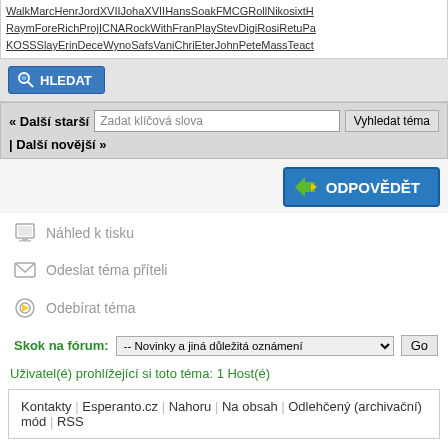WalkMarcHenrJordXVIIJohaXVIIHansSoakFMCGRollNikosixtH RaymForeRichProjICNARockWithFranPlayStevDigiRosiRetuPa KOSSSlayErinDeceWynoSafsVaniChriEterJohnPeteMassTeact
HLEDAT
« Další starší | Zadat klíčová slova | Vyhledat téma | Další novější »
ODPOVĚDĚT
Náhled k tisku
Odeslat téma příteli
Odebírat téma
Skok na fórum: -- Novinky a jiná důležitá oznámení  Go
Uživatel(é) prohlížející si toto téma: 1 Host(é)
Kontakty | Esperanto.cz | Nahoru | Na obsah | Odlehčený (archivační) mód | RSS